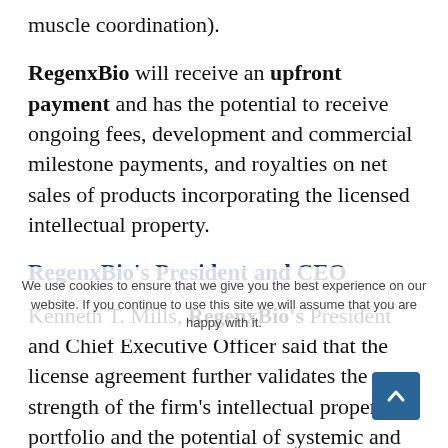muscle coordination).
RegenxBio will receive an upfront payment and has the potential to receive ongoing fees, development and commercial milestone payments, and royalties on net sales of products incorporating the licensed intellectual property.
RegenxBio's President and CEO
Kenneth T. Mills, RegenxBio's President and Chief Executive Officer said that the license agreement further validates the strength of the firm's intellectual property portfolio and the potential of systemic and central nervous system (CNS) manifestations of movement disorders. He hailed the relationship with Pfizer as it is expected to